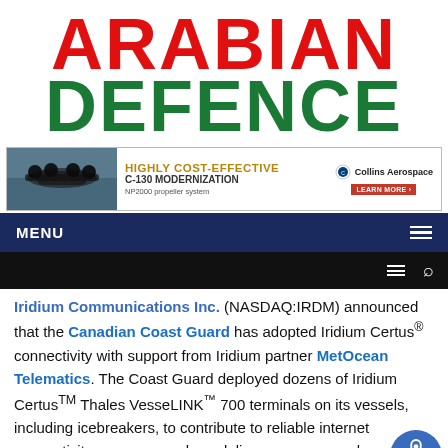ARABIAN DEFENCE
[Figure (screenshot): Advertisement banner for Collins Aerospace HIGHLY COST-EFFECTIVE C-130 MODERNIZATION with NP2000 propeller system, showing a C-130 aircraft photo on the left and Collins Aerospace logo on the right.]
MENU
Iridium Communications Inc. (NASDAQ:IRDM) announced that the Canadian Coast Guard has adopted Iridium Certus® connectivity with support from Iridium partner MetOcean Telematics. The Coast Guard deployed dozens of Iridium Certus™ Thales VesseLINK™ 700 terminals on its vessels, including icebreakers, to contribute to reliable internet connectivity as crew members deliver programs and services to ensure the safety of mariners in